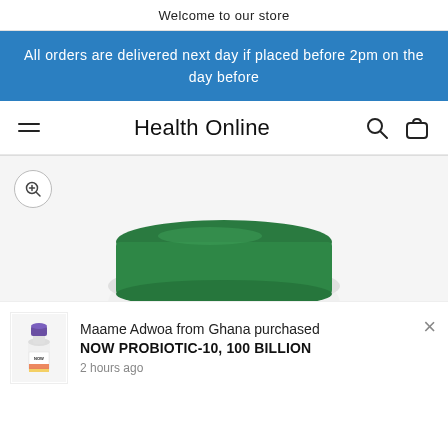Welcome to our store
All orders are delivered next day if placed before 2pm on the day before
Health Online
[Figure (photo): Close-up of a supplement bottle with green cap, showing '21st Century' branding on the label. A zoom-in icon is shown in the top left of the image area.]
Maame Adwoa from Ghana purchased NOW PROBIOTIC-10, 100 BILLION 2 hours ago